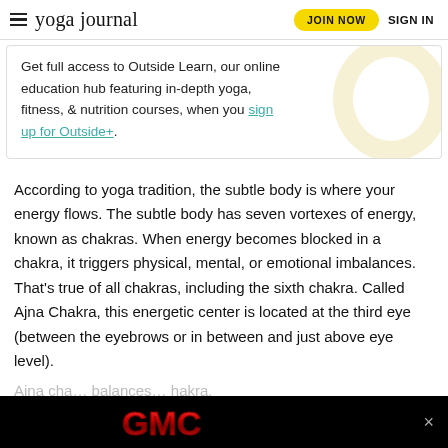yoga journal | JOIN NOW | SIGN IN
Get full access to Outside Learn, our online education hub featuring in-depth yoga, fitness, & nutrition courses, when you sign up for Outside+.
According to yoga tradition, the subtle body is where your energy flows. The subtle body has seven vortexes of energy, known as chakras. When energy becomes blocked in a chakra, it triggers physical, mental, or emotional imbalances. That’s true of all chakras, including the sixth chakra. Called Ajna Chakra, this energetic center is located at the third eye (between the eyebrows or in between and just above eye level).
Ajna ch… balances… hakra,
[Figure (logo): GMC advertisement banner with red GMC letters on black background with close button]